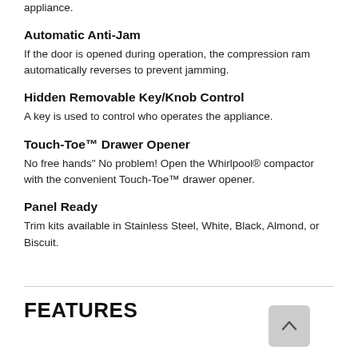appliance.
Automatic Anti-Jam
If the door is opened during operation, the compression ram automatically reverses to prevent jamming.
Hidden Removable Key/Knob Control
A key is used to control who operates the appliance.
Touch-Toe™ Drawer Opener
No free hands" No problem! Open the Whirlpool® compactor with the convenient Touch-Toe™ drawer opener.
Panel Ready
Trim kits available in Stainless Steel, White, Black, Almond, or Biscuit.
FEATURES